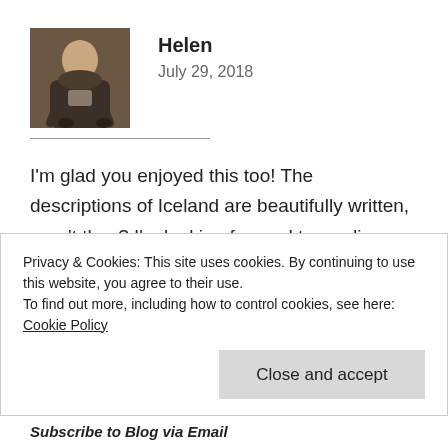[Figure (photo): Avatar photo of Helen — a person sitting/crouching, dark clothing, indoor setting]
Helen
July 29, 2018
I'm glad you enjoyed this too! The descriptions of Iceland are beautifully written, aren't they? I'm looking forward to reading The Last King of Lydia.
★ Liked by 1 person
Privacy & Cookies: This site uses cookies. By continuing to use this website, you agree to their use.
To find out more, including how to control cookies, see here: Cookie Policy
Close and accept
Subscribe to Blog via Email